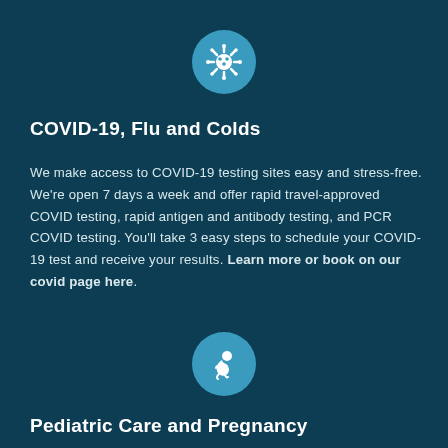[Figure (illustration): White virus/COVID icon centered in a teal circle, positioned at the top of the page]
COVID-19, Flu and Colds
We make access to COVID-19 testing sites easy and stress-free. We're open 7 days a week and offer rapid travel-approved COVID testing, rapid antigen and antibody testing, and PCR COVID testing. You'll take 3 easy steps to schedule your COVID-19 test and receive your results. Learn more or book on our covid page here.
[Figure (illustration): White fetus/baby icon centered in a teal circle, positioned in the lower portion of the page]
Pediatric Care and Pregnancy